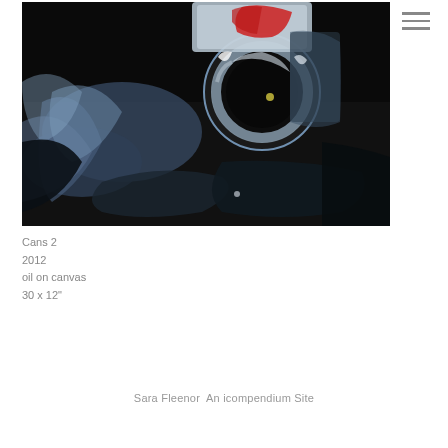[Figure (photo): Abstract oil painting showing a crushed or crumpled metallic can against a dark background, with expressive brushwork in blues, blacks, white and red]
Cans 2
2012
oil on canvas
30 x 12"
Sara Fleenor  An icompendium Site